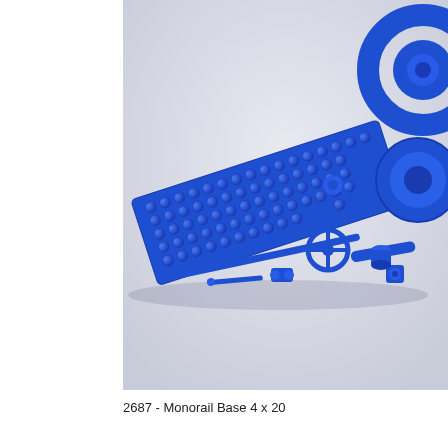[Figure (photo): Blue LEGO parts laid out on a light grey/blue background. The parts include a long rectangular baseplate with studs (Monorail Base 4x20), large circular tire/wheel pieces, a steering wheel, an axle rod, small connector pieces, a cylindrical piece, a cylindrical tube, and other small blue LEGO components. All pieces are the same vivid blue color.]
2687 - Monorail Base 4 x 20